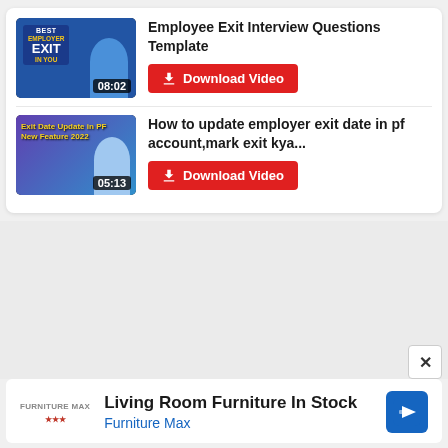[Figure (screenshot): Video thumbnail for Employee Exit Interview Questions Template, duration 08:02]
Employee Exit Interview Questions Template
Download Video
[Figure (screenshot): Video thumbnail for How to update employer exit date in pf account, duration 05:13]
How to update employer exit date in pf account,mark exit kya...
Download Video
[Figure (screenshot): Advertisement: Living Room Furniture In Stock - Furniture Max]
Living Room Furniture In Stock
Furniture Max